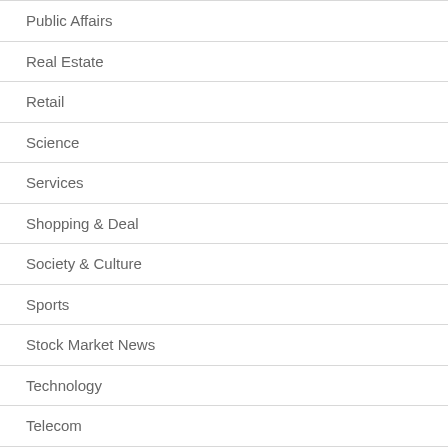Public Affairs
Real Estate
Retail
Science
Services
Shopping & Deal
Society & Culture
Sports
Stock Market News
Technology
Telecom
Transportation & Logistics
Travel
U.K